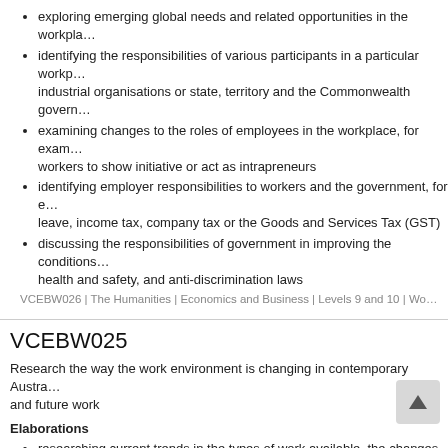exploring emerging global needs and related opportunities in the workplace
identifying the responsibilities of various participants in a particular workplace, including employees, employers, industrial organisations or state, territory and the Commonwealth government
examining changes to the roles of employees in the workplace, for example, the increasing expectation for workers to show initiative or act as intrapreneurs
identifying employer responsibilities to workers and the government, for example, superannuation, parental leave, income tax, company tax or the Goods and Services Tax (GST)
discussing the responsibilities of government in improving the conditions of work, for example, employment, health and safety, and anti-discrimination laws
VCEBW026 | The Humanities | Economics and Business | Levels 9 and 10 | Wo...
VCEBW025
Research the way the work environment is changing in contemporary Australia, and consider the implications for present and future work
Elaborations
researching current trends in the types of work available, the changes occurring and different forms of employment
analysing how technology, globalisation and sustainability have affected the nature of work
investigating a range of occupations and the skills and dispositions required
VCEBW025 | The Humanities | Economics and Business | Levels 9 and 10 | Wo...